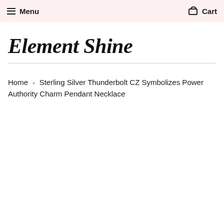Menu   Cart
Element Shine
Home › Sterling Silver Thunderbolt CZ Symbolizes Power Authority Charm Pendant Necklace